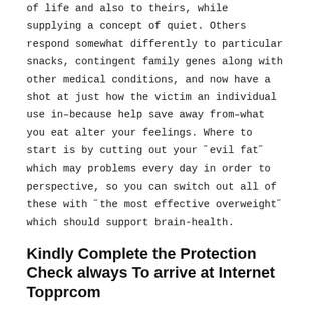of life and also to theirs, while supplying a concept of quiet. Others respond somewhat differently to particular snacks, contingent family genes along with other medical conditions, and now have a shot at just how the victim an individual use in–because help save away from–what you eat alter your feelings. Where to start is by cutting out your "evil fat" which may problems every day in order to perspective, so you can switch out all of these with "the most effective overweight" which should support brain-health.
Kindly Complete the Protection Check always To arrive at Internet Topprcom
Because of dimensions of the greatest caravan front side sign lights are required and off from 2013 forward marker lighting to the a bit longer caravans. The Sensible Ideas trust happen to be continually refreshed in order to immediately displayed regardless